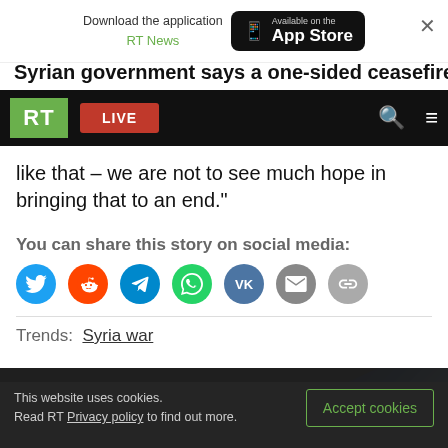[Figure (screenshot): App download banner for RT News on the App Store with close button]
Syrian government says a one-sided ceasefire
[Figure (screenshot): RT navigation bar with logo, LIVE button, search and menu icons]
like that – we are not to see much hope in bringing that to an end."
You can share this story on social media:
[Figure (infographic): Social media sharing icons: Twitter, Reddit, Telegram, WhatsApp, VK, Email, Link]
Trends:  Syria war
[Figure (photo): Partial image strip at bottom of article]
This website uses cookies. Read RT Privacy policy to find out more. [Accept cookies button]